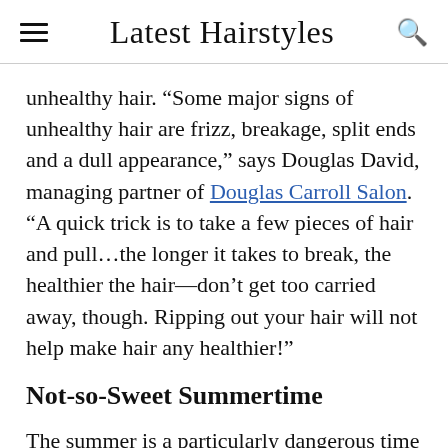Latest Hairstyles
unhealthy hair. “Some major signs of unhealthy hair are frizz, breakage, split ends and a dull appearance,” says Douglas David, managing partner of Douglas Carroll Salon. “A quick trick is to take a few pieces of hair and pull…the longer it takes to break, the healthier the hair—don’t get too carried away, though. Ripping out your hair will not help make hair any healthier!”
Not-so-Sweet Summertime
The summer is a particularly dangerous time